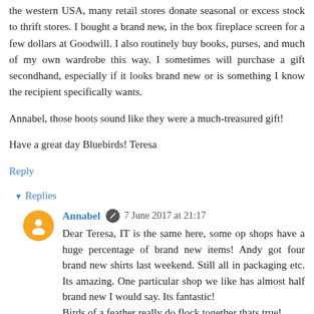the western USA, many retail stores donate seasonal or excess stock to thrift stores. I bought a brand new, in the box fireplace screen for a few dollars at Goodwill. I also routinely buy books, purses, and much of my own wardrobe this way. I sometimes will purchase a gift secondhand, especially if it looks brand new or is something I know the recipient specifically wants.
Annabel, those boots sound like they were a much-treasured gift!
Have a great day Bluebirds! Teresa
Reply
▾ Replies
Annabel ✎ 7 June 2017 at 21:17
Dear Teresa, IT is the same here, some op shops have a huge percentage of brand new items! Andy got four brand new shirts last weekend. Still all in packaging etc. Its amazing. One particular shop we like has almost half brand new I would say. Its fantastic!
Birds of a feather really do flock together thats true!